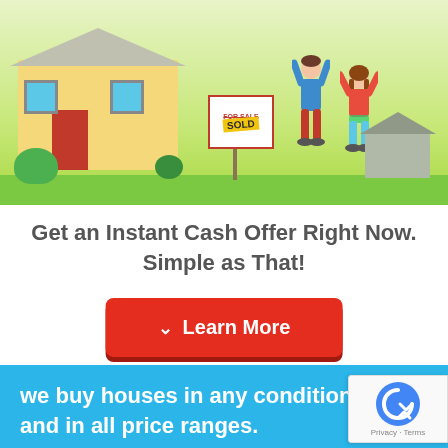[Figure (illustration): Cartoon illustration of a house with a 'SOLD' sign and two celebrating people raising their arms, green lawn, background house]
Get an Instant Cash Offer Right Now. Simple as That!
Learn More
we buy houses in any condition and in all price ranges.